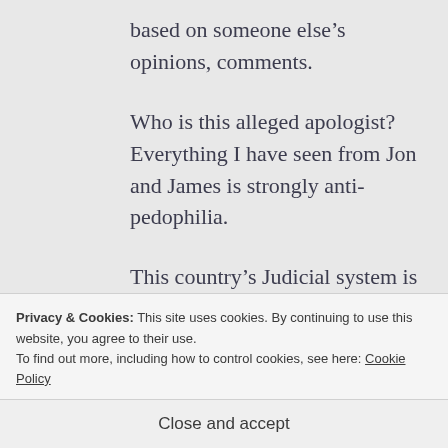based on someone else's opinions, comments.
Who is this alleged apologist? Everything I have seen from Jon and James is strongly anti-pedophilia.
This country's Judicial system is based on the precept of
Privacy & Cookies: This site uses cookies. By continuing to use this website, you agree to their use.
To find out more, including how to control cookies, see here: Cookie Policy
Close and accept